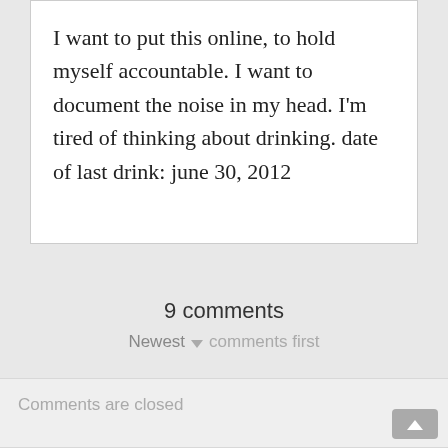I want to put this online, to hold myself accountable. I want to document the noise in my head. I'm tired of thinking about drinking. date of last drink: june 30, 2012
9 comments
Newest ▼ comments first
Comments are closed